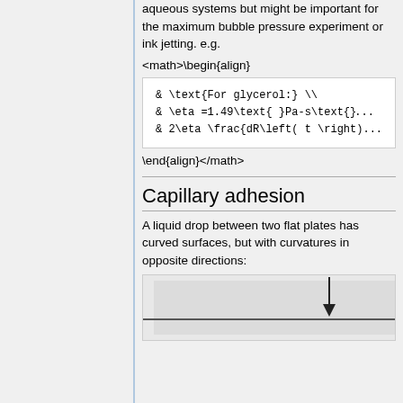aqueous systems but might be important for the maximum bubble pressure experiment or ink jetting. e.g.
Capillary adhesion
A liquid drop between two flat plates has curved surfaces, but with curvatures in opposite directions:
[Figure (illustration): Diagram showing a liquid drop between two flat plates with a downward arrow indicating force, and a horizontal plate line.]